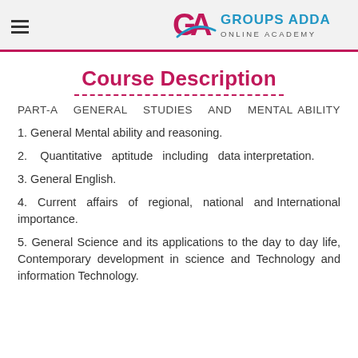GROUPS ADDA ONLINE ACADEMY
Course Description
PART-A GENERAL STUDIES AND MENTAL ABILITY
1. General Mental ability and reasoning.
2. Quantitative aptitude including data interpretation.
3. General English.
4. Current affairs of regional, national and International importance.
5. General Science and its applications to the day to day life, Contemporary development in science and Technology and information Technology.